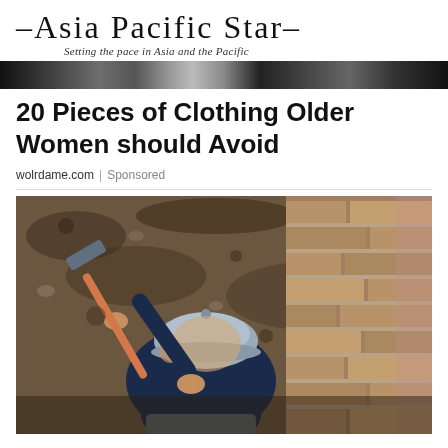–Asia Pacific Star–
Setting the pace in Asia and the Pacific
[Figure (photo): Dark banner/header image strip across the page]
20 Pieces of Clothing Older Women should Avoid
wolrdame.com | Sponsored
[Figure (photo): Person wearing a gray cap and dark jacket, digging with a pickaxe or mattock near a brick wall, viewed from above]